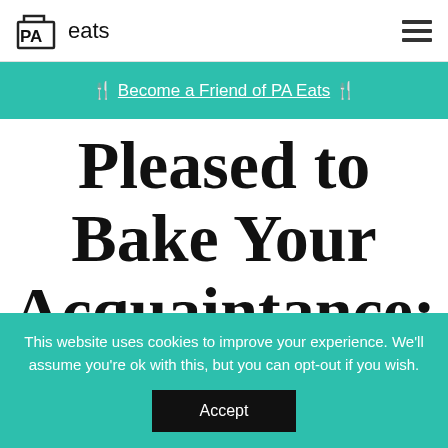PA eats
🍴 Become a Friend of PA Eats 🍴
Pleased to Bake Your Acquaintance: Wild Rise Bakery
This website uses cookies to improve your experience. We'll assume you're ok with this, but you can opt-out if you wish. Accept